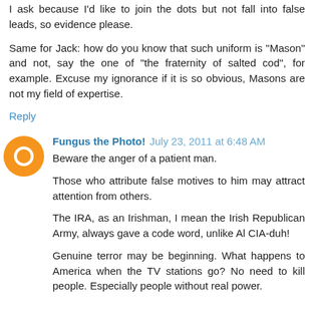I ask because I'd like to join the dots but not fall into false leads, so evidence please.
Same for Jack: how do you know that such uniform is "Mason" and not, say the one of "the fraternity of salted cod", for example. Excuse my ignorance if it is so obvious, Masons are not my field of expertise.
Reply
Fungus the Photo!  July 23, 2011 at 6:48 AM
Beware the anger of a patient man.
Those who attribute false motives to him may attract attention from others.
The IRA, as an Irishman, I mean the Irish Republican Army, always gave a code word, unlike Al CIA-duh!
Genuine terror may be beginning. What happens to America when the TV stations go? No need to kill people. Especially people without real power.